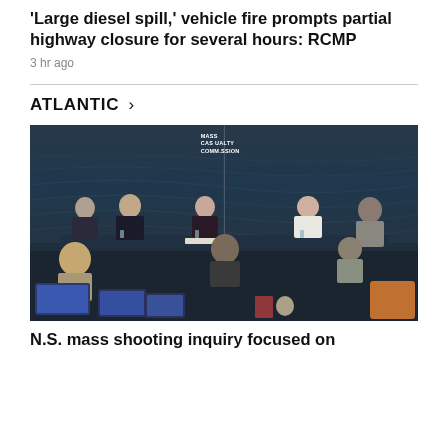'Large diesel spill,' vehicle fire prompts partial highway closure for several hours: RCMP
3 hr ago
ATLANTIC >
[Figure (photo): Panel of commissioners seated at a long table with the Mass Casualty Commission sign visible, with audience members and lawyers in the foreground]
N.S. mass shooting inquiry focused on